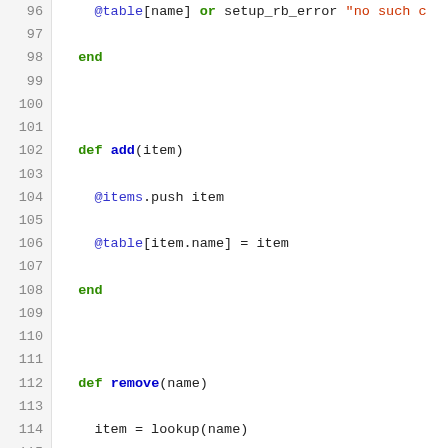[Figure (screenshot): Ruby source code listing, lines 96–122, showing methods: add, remove, load_script, savefile, load_savefile with syntax highlighting (green keywords, blue identifiers, red strings).]